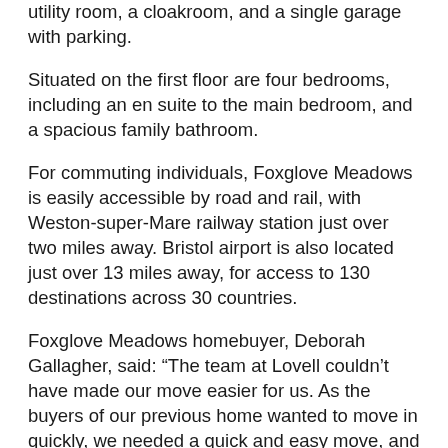utility room, a cloakroom, and a single garage with parking.
Situated on the first floor are four bedrooms, including an en suite to the main bedroom, and a spacious family bathroom.
For commuting individuals, Foxglove Meadows is easily accessible by road and rail, with Weston-super-Mare railway station just over two miles away. Bristol airport is also located just over 13 miles away, for access to 130 destinations across 30 countries.
Foxglove Meadows homebuyer, Deborah Gallagher, said: “The team at Lovell couldn’t have made our move easier for us. As the buyers of our previous home wanted to move in quickly, we needed a quick and easy move, and Lovell pulled out all the stops to ensure that we did. We would definitely recommend buying with Lovell Homes.”
Julie Bowen, regional sales director at Lovell Homes, said: “Foxglove Meadows is a wonderful development, providing families and individuals with modern, spacious a…